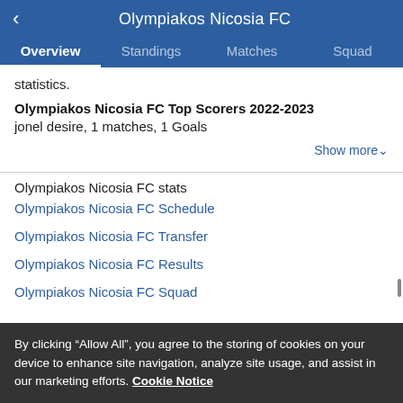Olympiakos Nicosia FC
Overview | Standings | Matches | Squad
statistics.
Olympiakos Nicosia FC Top Scorers 2022-2023
jonel desire, 1 matches, 1 Goals
Show more
Olympiakos Nicosia FC stats
Olympiakos Nicosia FC Schedule
Olympiakos Nicosia FC Transfer
Olympiakos Nicosia FC Results
Olympiakos Nicosia FC Squad
By clicking “Allow All”, you agree to the storing of cookies on your device to enhance site navigation, analyze site usage, and assist in our marketing efforts. Cookie Notice